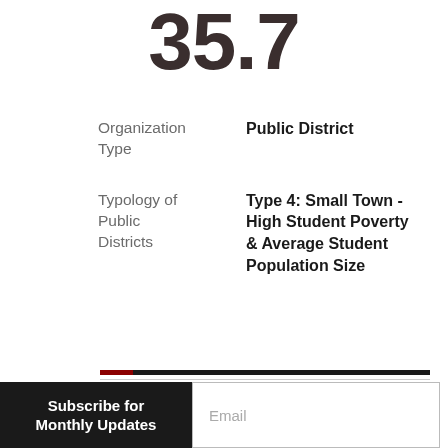35.7
Organization Type
Public District
Typology of Public Districts
Type 4: Small Town - High Student Poverty & Average Student Population Size
2019 Ohio School
Subscribe for Monthly Updates
Email